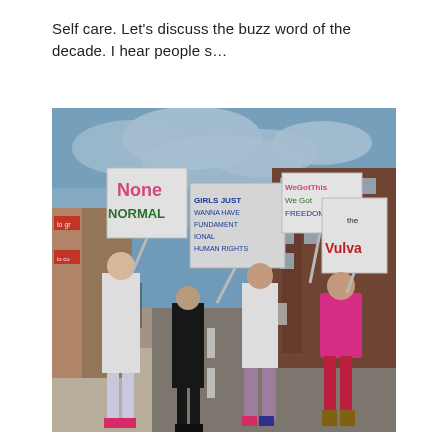Self care. Let's discuss the buzz word of the decade. I hear people s…
[Figure (photo): Children marching in a protest/march on a city street, holding handmade signs. Signs read: 'None Normal', 'Girls Just Wanna Have Fundamental Human Rights', 'We Got This, We Got Freedom', and 'the Vulva'. One girl wears a white dress with white leggings and pink shoes, another in all black, another in a white shirt with patterned leggings, and one in a bright pink dress with red tights. Buildings and street visible in background.]